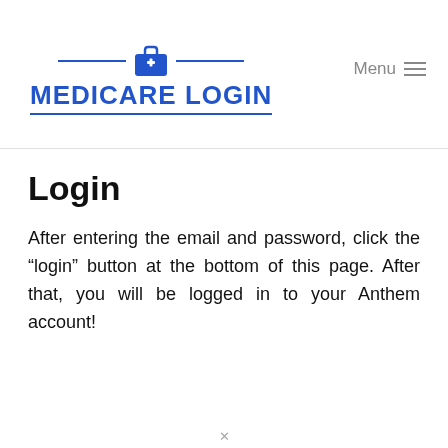[Figure (logo): Medicare Login logo with a blue first-aid kit icon, horizontal blue lines on either side, bold blue uppercase text MEDICARE LOGIN, and a blue underline]
Login
After entering the email and password, click the “login” button at the bottom of this page. After that, you will be logged in to your Anthem account!